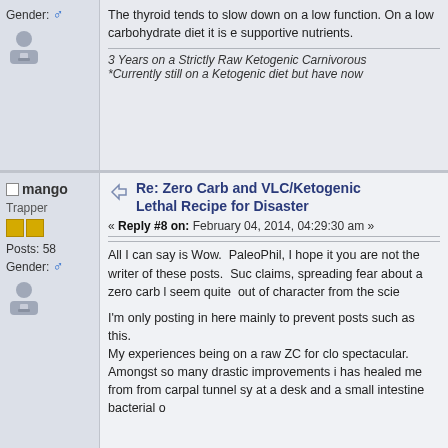Gender: ♂
The thyroid tends to slow down on a low function. On a low carbohydrate diet it is e supportive nutrients.
3 Years on a Strictly Raw Ketogenic Carnivorous *Currently still on a Ketogenic diet but have now
mango
Trapper
Posts: 58
Gender: ♂
Re: Zero Carb and VLC/Ketogenic Lethal Recipe for Disaster
« Reply #8 on: February 04, 2014, 04:29:30 am »
All I can say is Wow.  PaleoPhil, I hope it you are not the writer of these posts.  Suc claims, spreading fear about a zero carb l seem quite  out of character from the scie
I'm only posting in here mainly to prevent posts such as this.
My experiences being on a raw ZC for clo spectacular.
Amongst so many drastic improvements i has healed me from from carpal tunnel sy at a desk and a small intestine bacterial o